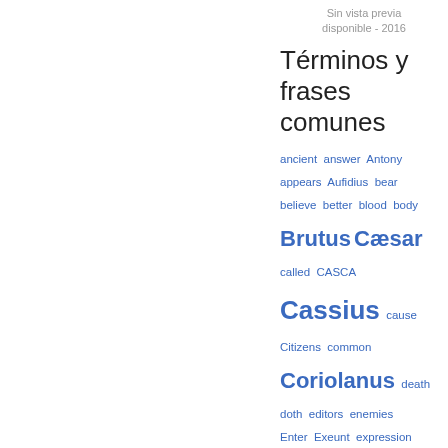Sin vista previa disponible - 2016
Términos y frases comunes
ancient  answer  Antony  appears  Aufidius  bear  believe  better  blood  body  Brutus  Cæsar  called  CASCA  Cassius  cause  Citizens  common  Coriolanus  death  doth  editors  enemies  Enter  Exeunt  expression  eyes  fear  folio  friends  give  given  gods  hand  hast  hath  head  hear  heart  hold  honour